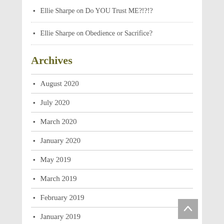Ellie Sharpe on Do YOU Trust ME?!?!?
Ellie Sharpe on Obedience or Sacrifice?
Archives
August 2020
July 2020
March 2020
January 2020
May 2019
March 2019
February 2019
January 2019
December 2018
November 2018